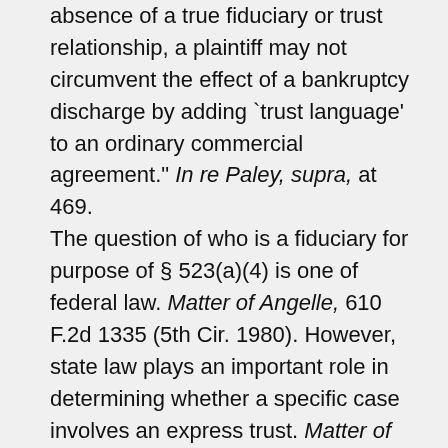absence of a true fiduciary or trust relationship, a plaintiff may not circumvent the effect of a bankruptcy discharge by adding `trust language' to an ordinary commercial agreement." In re Paley, supra, at 469.
The question of who is a fiduciary for purpose of § 523(a)(4) is one of federal law. Matter of Angelle, 610 F.2d 1335 (5th Cir. 1980). However, state law plays an important role in determining whether a specific case involves an express trust. Matter of Angelle, supra; In re Cairone, supra. Cf. Jaffke v. Dunham, 352 U.S. 280, 77 S.Ct. 307, 1 L.Ed.2d 314